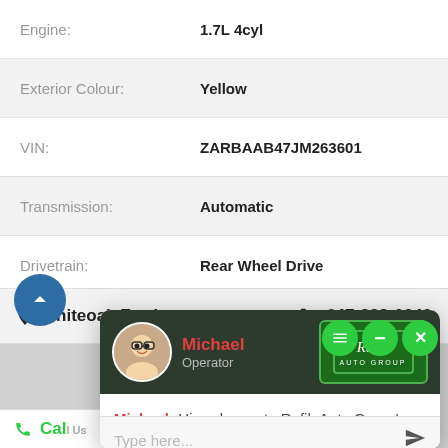| Label | Value |
| --- | --- |
| Engine: | 1.7L 4cyl |
| Exterior Colour: | Yellow |
| VIN: | ZARBAAB47JM263601 |
| Transmission: | Automatic |
| Drivetrain: | Rear Wheel Drive |
| Stock #: | P0313 |
| City: | Mississauga |
Whiteoak Ford   647-932-0040
[Figure (screenshot): Chat widget overlay with operator Michael from Rafih Auto Group. Message: Hi, welcome to Rafih Auto Group's website. How may I help you? Input field: Type here...]
Call Us   Visit Us